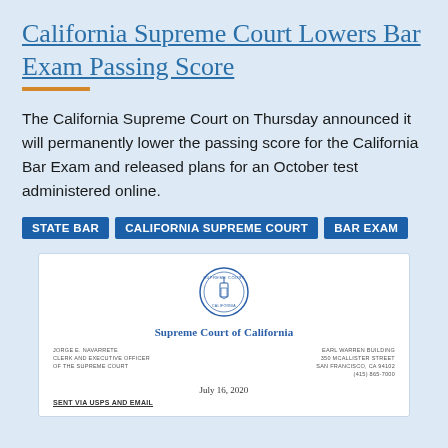California Supreme Court Lowers Bar Exam Passing Score
The California Supreme Court on Thursday announced it will permanently lower the passing score for the California Bar Exam and released plans for an October test administered online.
STATE BAR
CALIFORNIA SUPREME COURT
BAR EXAM
[Figure (other): Letterhead of the Supreme Court of California showing the court seal, court name, official's name and title on the left, building address on the right, dated July 16, 2020, with 'SENT VIA USPS AND EMAIL' at the bottom.]